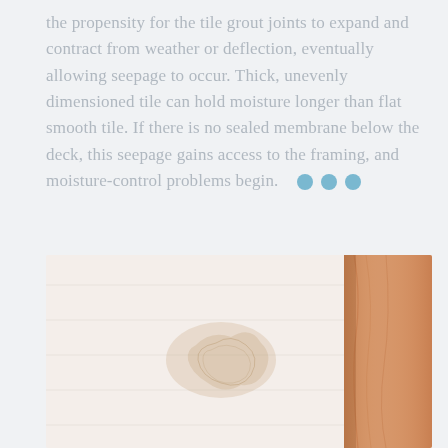the propensity for the tile grout joints to expand and contract from weather or deflection, eventually allowing seepage to occur. Thick, unevenly dimensioned tile can hold moisture longer than flat smooth tile. If there is no sealed membrane below the deck, this seepage gains access to the framing, and moisture-control problems begin.
[Figure (photo): Close-up photo of a light-colored tile or wood surface with brownish water stain marks, and a warm-toned wooden post or beam visible on the right side.]